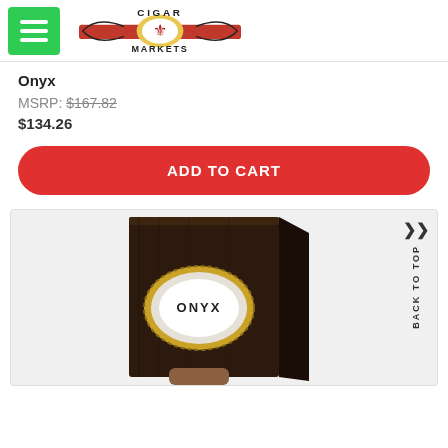[Figure (logo): Cigar Markets logo with hamburger menu button]
Onyx
MSRP: $167.82
$134.26
ADD TO CART
[Figure (photo): Onyx cigar box - dark brown box with Onyx branded circular label with gold decorative border, white oval center with ONYX text]